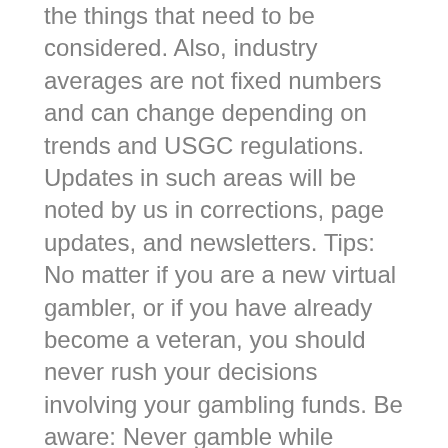the things that need to be considered. Also, industry averages are not fixed numbers and can change depending on trends and USGC regulations. Updates in such areas will be noted by us in corrections, page updates, and newsletters. Tips: No matter if you are a new virtual gambler, or if you have already become a veteran, you should never rush your decisions involving your gambling funds. Be aware: Never gamble while inebriated or high. You need to have your full mental capacities when you spend and wager money. Let us take each aspect out of the 4, one by one, and see how they will reflect in your gameplay. How frequently are these bonuses available? Unfortunately, no wagering bonuses are not seen as often as its wagering